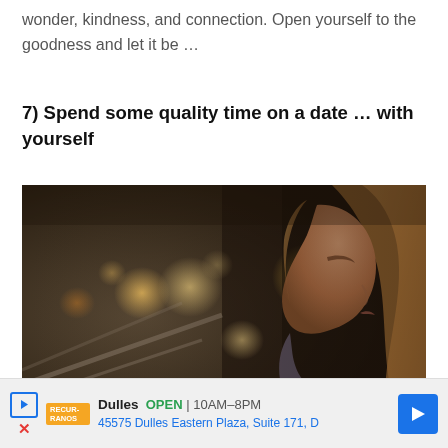wonder, kindness, and connection. Open yourself to the goodness and let it be …
7) Spend some quality time on a date … with yourself
[Figure (photo): Young woman with long hair and a scarf seen in profile, gazing into the distance against a blurred city lights bokeh background at dusk.]
Dulles  OPEN  10AM–8PM  45575 Dulles Eastern Plaza, Suite 171, D